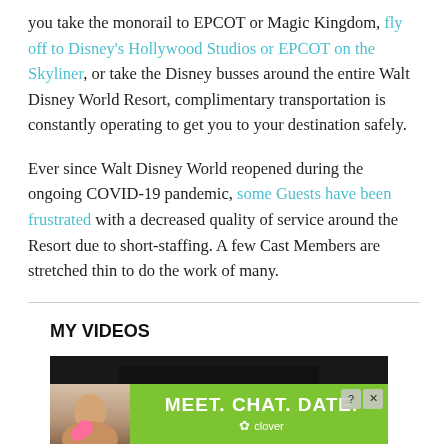you take the monorail to EPCOT or Magic Kingdom, fly off to Disney's Hollywood Studios or EPCOT on the Skyliner, or take the Disney busses around the entire Walt Disney World Resort, complimentary transportation is constantly operating to get you to your destination safely.
Ever since Walt Disney World reopened during the ongoing COVID-19 pandemic, some Guests have been frustrated with a decreased quality of service around the Resort due to short-staffing. A few Cast Members are stretched thin to do the work of many.
MY VIDEOS
[Figure (screenshot): Video thumbnail showing a dark background with a dark bar, overlaid by a green advertisement banner reading 'MEET. CHAT. DATE.' with Clover branding and a person on the left side.]